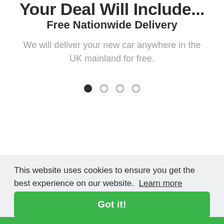Your Deal Will Include...
Free Nationwide Delivery
We will deliver your new car anywhere in the UK mainland for free.
[Figure (other): Carousel pagination dots: one filled circle followed by three empty circles]
This website uses cookies to ensure you get the best experience on our website. Learn more
Got it!